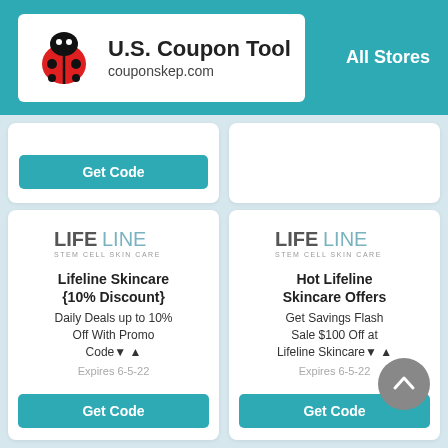U.S. Coupon Tool — couponskep.com — All Stores
[Figure (screenshot): Partial coupon card with Get Code button visible at top]
[Figure (logo): Lifeline Stem Cell Skin Care logo (left card)]
Lifeline Skincare {10% Discount}
Daily Deals up to 10% Off With Promo Code▼ ▲
Expires 6-5-22
[Figure (logo): Lifeline Stem Cell Skin Care logo (right card)]
Hot Lifeline Skincare Offers
Get Savings Flash Sale $100 Off at Lifeline Skincare▼ ▲
Expires 6-5-22